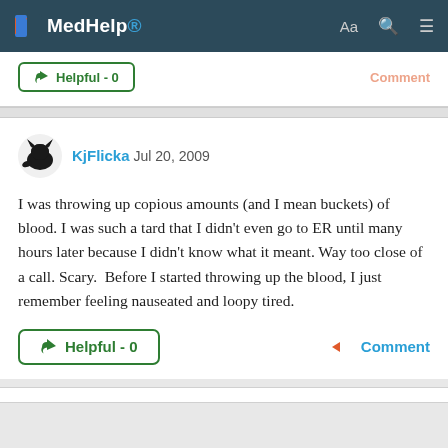MedHelp
Helpful - 0   Comment
KjFlicka Jul 20, 2009

I was throwing up copious amounts (and I mean buckets) of blood. I was such a tard that I didn't even go to ER until many hours later because I didn't know what it meant. Way too close of a call. Scary.  Before I started throwing up the blood, I just remember feeling nauseated and loopy tired.
Helpful - 0   Comment